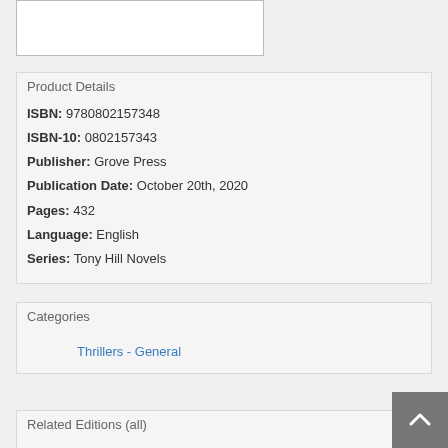[Figure (other): Book cover image placeholder (white rectangle with border)]
Product Details
ISBN: 9780802157348
ISBN-10: 0802157343
Publisher: Grove Press
Publication Date: October 20th, 2020
Pages: 432
Language: English
Series: Tony Hill Novels
Categories
Thrillers - General
Related Editions (all)